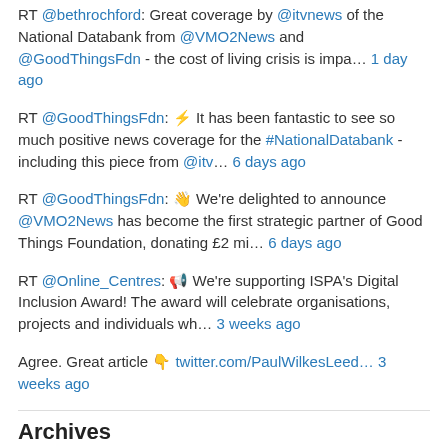RT @bethrochford: Great coverage by @itvnews of the National Databank from @VMO2News and @GoodThingsFdn - the cost of living crisis is impa… 1 day ago
RT @GoodThingsFdn: ⚡ It has been fantastic to see so much positive news coverage for the #NationalDatabank - including this piece from @itv… 6 days ago
RT @GoodThingsFdn: 👋 We're delighted to announce @VMO2News has become the first strategic partner of Good Things Foundation, donating £2 mi… 6 days ago
RT @Online_Centres: 📢 We're supporting ISPA's Digital Inclusion Award! The award will celebrate organisations, projects and individuals wh… 3 weeks ago
Agree. Great article 👇 twitter.com/PaulWilkesLeed… 3 weeks ago
Archives